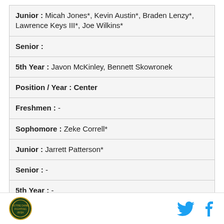| Junior : Micah Jones*, Kevin Austin*, Braden Lenzy*, Lawrence Keys III*, Joe Wilkins* |
| Senior : |
| 5th Year : Javon McKinley, Bennett Skowronek |
| Position / Year : Center |
| Freshmen : - |
| Sophomore : Zeke Correll* |
| Junior : Jarrett Patterson* |
| Senior : - |
| 5th Year : - |
| Position / Year : Guard |
[Figure (logo): Notre Dame Fighting Irish circular logo]
[Figure (logo): Twitter bird icon in cyan]
[Figure (logo): Facebook 'f' icon in cyan]